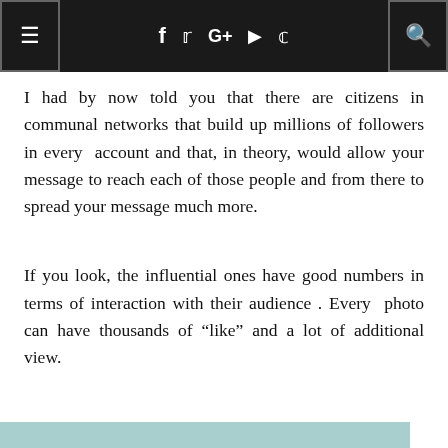≡ f 𝕿 G+ ▶ S 🔍
I had by now told you that there are citizens in communal networks that build up millions of followers in every account and that, in theory, would allow your message to reach each of those people and from there to spread your message much more.
If you look, the influential ones have good numbers in terms of interaction with their audience . Every photo can have thousands of “like” and a lot of additional view.